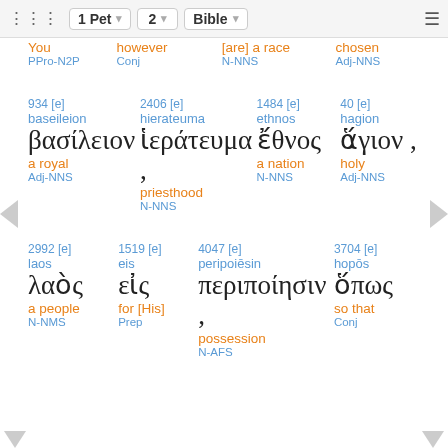1 Pet  2  Bible
You  however  [are] a race  chosen
PPro-N2P  Conj  N-NNS  Adj-NNS
934 [e]  baseileion  βασίλειον  a royal  Adj-NNS
2406 [e]  hierateuma  ἱεράτευμα ,  priesthood  N-NNS
1484 [e]  ethnos  ἔθνος  a nation  N-NNS
40 [e]  hagion  ἅγιον ,  holy  Adj-NNS
2992 [e]  laos  λαὸς  a people  N-NMS
1519 [e]  eis  εἰς  for [His]  Prep
4047 [e]  peripoiesin  περιποίησιν ,  possession  N-AFS
3704 [e]  hopos  ὅπως  so that  Conj